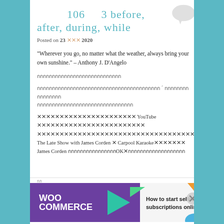106    3 before, after, during, while
Posted on 23 xxx 2020
“Wherever you go, no matter what the weather, always bring your own sunshine.” – Anthony J. D’Angelo
กกกกกกกกกกกกกกกกกกกกกกกกกกกก
กกกกกกกกกกกกกกกกกกกกกกกกกกกกกกกกกกกกกกกกก ´ กกกกกกกกกกกกกกกก กกกกกกกกกกกกกกกกกกกกกกกกกกกกกกกก
✕✕✕✕✕✕✕✕✕✕✕✕✕✕✕✕✕✕✕✕✕✕ YouTube ✕✕✕✕✕✕✕✕✕✕✕✕✕✕✕✕✕✕✕✕✕✕✕✕ ✕✕✕✕✕✕✕✕✕✕✕✕✕✕✕✕✕✕✕✕✕✕✕✕✕✕✕✕✕✕✕✕✕✕✕✕✕✕✕ The Late Show with James Corden × Carpool Karaoke✕✕✕✕✕✕✕ James Corden กกกกกกกกกกกกกกกกOK✕กกกกกกกกกกกกกกกกกกก
[Figure (other): WooCommerce advertisement banner: purple background with WooCommerce logo, teal arrow graphic, and text 'How to start selling subscriptions online']